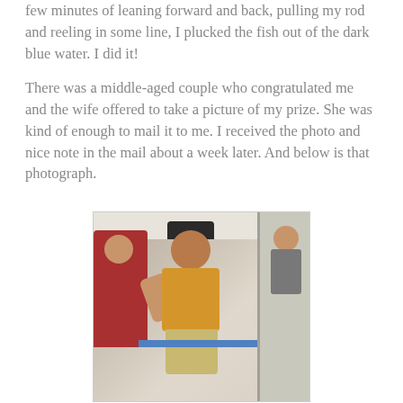few minutes of leaning forward and back, pulling my rod and reeling in some line, I plucked the fish out of the dark blue water. I did it!

There was a middle-aged couple who congratulated me and the wife offered to take a picture of my prize. She was kind of enough to mail it to me. I received the photo and nice note in the mail about a week later. And below is that photograph.
[Figure (photo): A young person in a yellow t-shirt and tan shorts, wearing a dark baseball cap, holding up a fish on what appears to be a charter fishing boat. Other people are visible in the background. The photo has a vintage quality suggesting it was taken in the 1980s or early 1990s.]